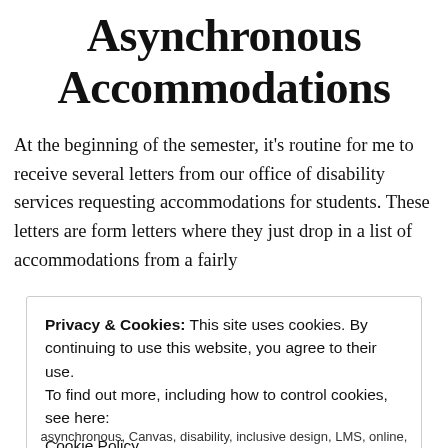Asynchronous Accommodations
At the beginning of the semester, it’s routine for me to receive several letters from our office of disability services requesting accommodations for students. These letters are form letters where they just drop in a list of accommodations from a fairly
Privacy & Cookies: This site uses cookies. By continuing to use this website, you agree to their use.
To find out more, including how to control cookies, see here:
Cookie Policy
Close and accept
asynchronous, Canvas, disability, inclusive design, LMS, online,